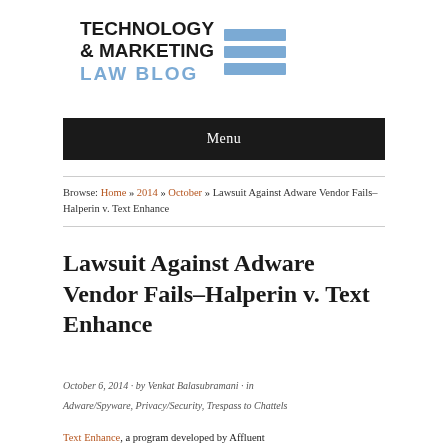[Figure (logo): Technology & Marketing Law Blog logo with blue horizontal bars]
Menu
Browse: Home » 2014 » October » Lawsuit Against Adware Vendor Fails–Halperin v. Text Enhance
Lawsuit Against Adware Vendor Fails–Halperin v. Text Enhance
October 6, 2014 · by Venkat Balasubramani · in Adware/Spyware, Privacy/Security, Trespass to Chattels
Text Enhance, a program developed by Affluent